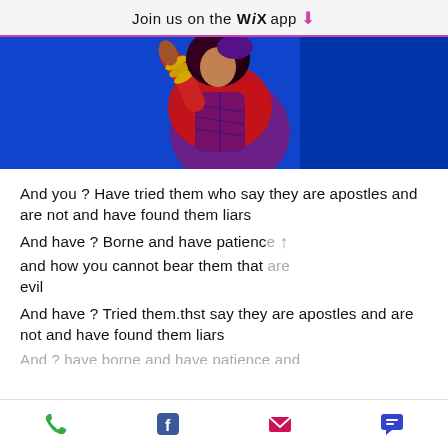Join us on the WiX app ↓
[Figure (photo): A figure in a red and purple costume dancing against a blue background, with gold accessories visible.]
And you ? Have tried them who say they are apostles and are not and have found them liars
And have ? Borne and have patience and how you cannot bear them that are evil
And have ? Tried them.thst say they are apostles and are not and have found them liars
Phone | Facebook | Email | Chat icons